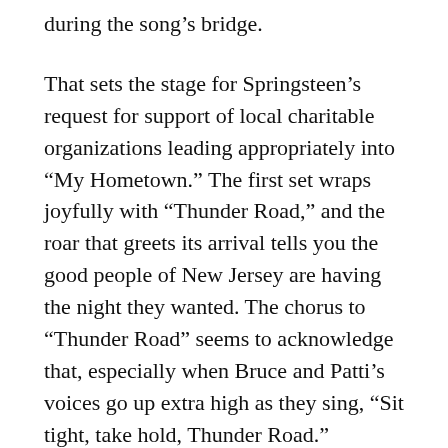during the song's bridge.
That sets the stage for Springsteen's request for support of local charitable organizations leading appropriately into “My Hometown.” The first set wraps joyfully with “Thunder Road,” and the roar that greets its arrival tells you the good people of New Jersey are having the night they wanted. The chorus to “Thunder Road” seems to acknowledge that, especially when Bruce and Patti’s voices go up extra high as they sing, “Sit tight, take hold, Thunder Road.”
A straightforward but satisfying second set follows the standard 1985 stadium show